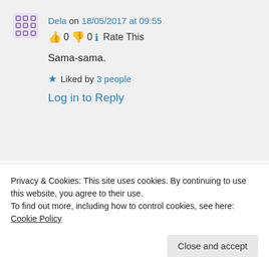Dela on 18/05/2017 at 09:55
👍 0 👎 0 ℹ Rate This
Sama-sama.
★ Liked by 3 people
Log in to Reply
Advertisements
[Figure (logo): P2 blog logo with dark square icon and P2 text]
Privacy & Cookies: This site uses cookies. By continuing to use this website, you agree to their use.
To find out more, including how to control cookies, see here: Cookie Policy
Close and accept